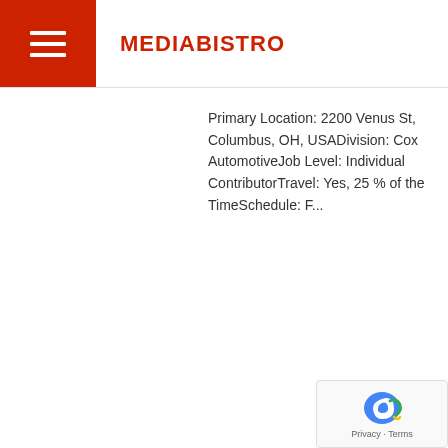MEDIABISTRO
Primary Location: 2200 Venus St, Columbus, OH, USADivision: Cox AutomotiveJob Level: Individual ContributorTravel: Yes, 25 % of the TimeSchedule: F...
PR Director
RedChip - Orlando, FL (3 months ago) About Us:RedChip is the world leader in investor relations, financial media, and research for microcap and small-cap stocks. Founded in 1992, and h...
RMC: Ad Operations Coordinator